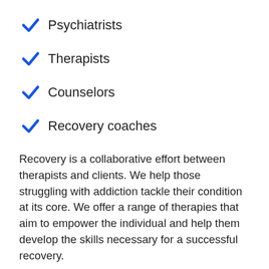Psychiatrists
Therapists
Counselors
Recovery coaches
Recovery is a collaborative effort between therapists and clients. We help those struggling with addiction tackle their condition at its core. We offer a range of therapies that aim to empower the individual and help them develop the skills necessary for a successful recovery.
Therapies offered at Excel include:
Cognitive Behavioral Therapy